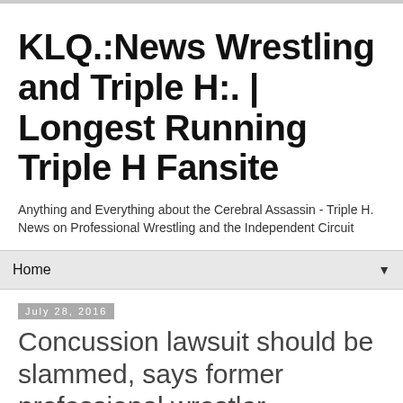KLQ.:News Wrestling and Triple H:. | Longest Running Triple H Fansite
Anything and Everything about the Cerebral Assassin - Triple H. News on Professional Wrestling and the Independent Circuit
Home ▼
July 28, 2016
Concussion lawsuit should be slammed, says former professional wrestler